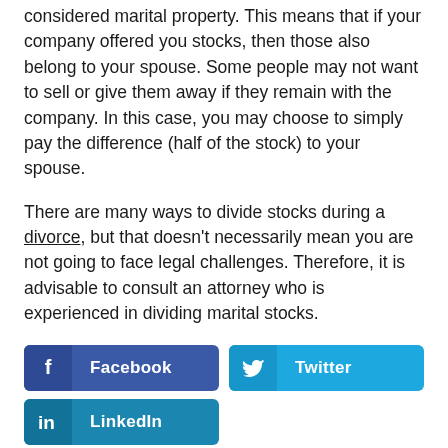considered marital property. This means that if your company offered you stocks, then those also belong to your spouse. Some people may not want to sell or give them away if they remain with the company. In this case, you may choose to simply pay the difference (half of the stock) to your spouse.
There are many ways to divide stocks during a divorce, but that doesn't necessarily mean you are not going to face legal challenges. Therefore, it is advisable to consult an attorney who is experienced in dividing marital stocks.
[Figure (infographic): Social media share buttons: Facebook (dark blue), Twitter (light blue), LinkedIn (teal blue)]